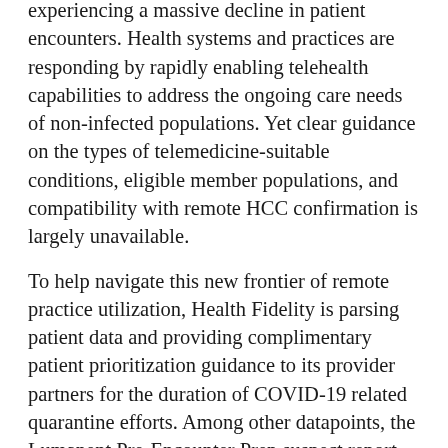experiencing a massive decline in patient encounters. Health systems and practices are responding by rapidly enabling telehealth capabilities to address the ongoing care needs of non-infected populations. Yet clear guidance on the types of telemedicine-suitable conditions, eligible member populations, and compatibility with remote HCC confirmation is largely unavailable.
To help navigate this new frontier of remote practice utilization, Health Fidelity is parsing patient data and providing complimentary patient prioritization guidance to its provider partners for the duration of COVID-19 related quarantine efforts. Among other datapoints, the Lumanent Pre-Encounter Prep suspect report will include documented conditions, time passed since the most recent annual wellness visit, individual risk adjustment factor, conditions that can be addressed over telehealth with a composite score that ranks patients who could benefit most from using telehealth.
"Patients with chronic conditions are at greater risk...